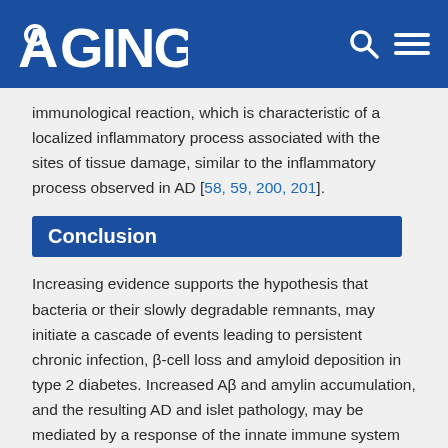AGING
immunological reaction, which is characteristic of a localized inflammatory process associated with the sites of tissue damage, similar to the inflammatory process observed in AD [58, 59, 200, 201].
Conclusion
Increasing evidence supports the hypothesis that bacteria or their slowly degradable remnants, may initiate a cascade of events leading to persistent chronic infection, β-cell loss and amyloid deposition in type 2 diabetes. Increased Aβ and amylin accumulation, and the resulting AD and islet pathology, may be mediated by a response of the innate immune system to infection. An infectious origin may give an explanation of the common pathogenic mechanisms